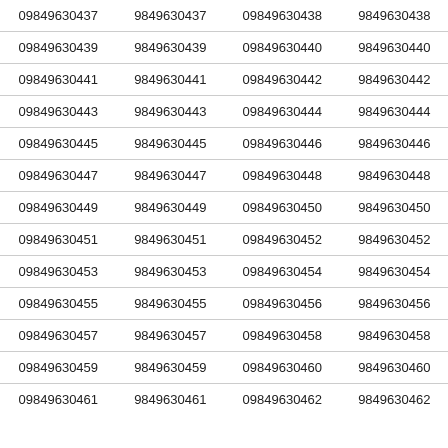| 09849630437 | 9849630437 | 09849630438 | 9849630438 |
| 09849630439 | 9849630439 | 09849630440 | 9849630440 |
| 09849630441 | 9849630441 | 09849630442 | 9849630442 |
| 09849630443 | 9849630443 | 09849630444 | 9849630444 |
| 09849630445 | 9849630445 | 09849630446 | 9849630446 |
| 09849630447 | 9849630447 | 09849630448 | 9849630448 |
| 09849630449 | 9849630449 | 09849630450 | 9849630450 |
| 09849630451 | 9849630451 | 09849630452 | 9849630452 |
| 09849630453 | 9849630453 | 09849630454 | 9849630454 |
| 09849630455 | 9849630455 | 09849630456 | 9849630456 |
| 09849630457 | 9849630457 | 09849630458 | 9849630458 |
| 09849630459 | 9849630459 | 09849630460 | 9849630460 |
| 09849630461 | 9849630461 | 09849630462 | 9849630462 |